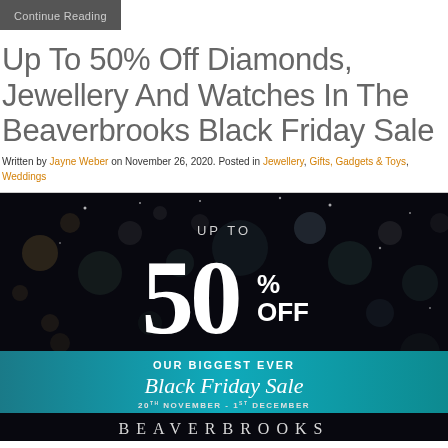Continue Reading
Up To 50% Off Diamonds, Jewellery And Watches In The Beaverbrooks Black Friday Sale
Written by Jayne Weber on November 26, 2020. Posted in Jewellery, Gifts, Gadgets & Toys, Weddings
[Figure (infographic): Beaverbrooks Black Friday Sale advertisement on dark starry background. Text reads: UP TO 50% OFF - OUR BIGGEST EVER Black Friday Sale - 20th NOVEMBER - 1st DECEMBER - BEAVERBROOKS]